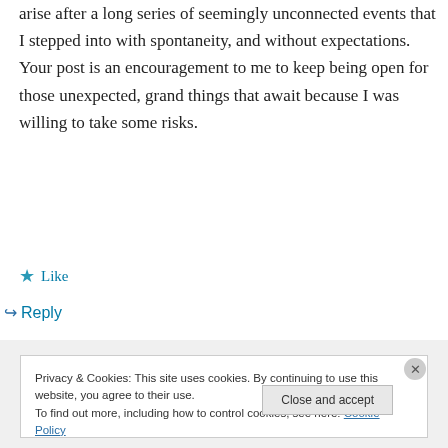arise after a long series of seemingly unconnected events that I stepped into with spontaneity, and without expectations. Your post is an encouragement to me to keep being open for those unexpected, grand things that await because I was willing to take some risks.
★ Like
↪ Reply
Privacy & Cookies: This site uses cookies. By continuing to use this website, you agree to their use.
To find out more, including how to control cookies, see here: Cookie Policy
Close and accept